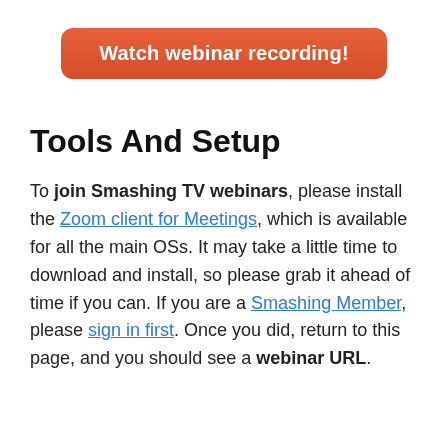[Figure (other): Orange rounded button with white bold text reading 'Watch webinar recording!']
Tools And Setup
To join Smashing TV webinars, please install the Zoom client for Meetings, which is available for all the main OSs. It may take a little time to download and install, so please grab it ahead of time if you can. If you are a Smashing Member, please sign in first. Once you did, return to this page, and you should see a webinar URL.